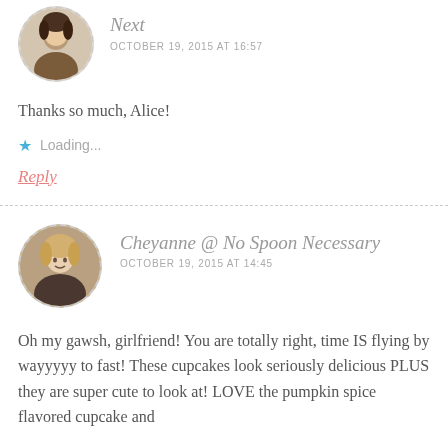[Figure (photo): Circular avatar photo of a woman with dashed border, partially cropped at top]
Next
OCTOBER 19, 2015 AT 16:57
Thanks so much, Alice!
Loading...
Reply
[Figure (photo): Circular avatar photo of a blonde woman with dashed border]
Cheyanne @ No Spoon Necessary
OCTOBER 19, 2015 AT 14:45
Oh my gawsh, girlfriend! You are totally right, time IS flying by wayyyyy to fast! These cupcakes look seriously delicious PLUS they are super cute to look at! LOVE the pumpkin spice flavored cupcake and